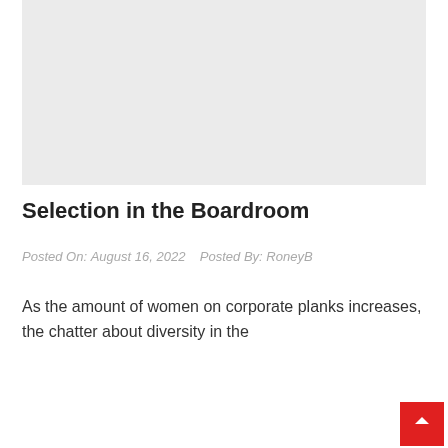[Figure (other): Light gray placeholder image area at the top of the page]
Selection in the Boardroom
Posted On: August 16, 2022     Posted By: RoneyB
As the amount of women on corporate planks increases, the chatter about diversity in the